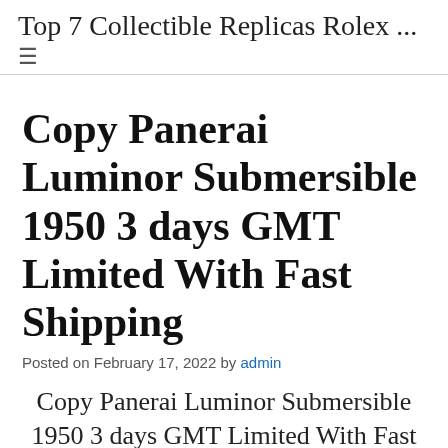Top 7 Collectible Replicas Rolex …
Copy Panerai Luminor Submersible 1950 3 days GMT Limited With Fast Shipping
Posted on February 17, 2022 by admin
Copy Panerai Luminor Submersible 1950 3 days GMT Limited With Fast Shipping